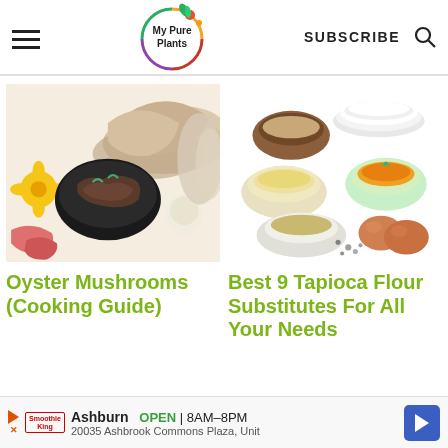My Pure Plants — SUBSCRIBE
[Figure (photo): Various oyster mushrooms surrounding a black cast iron pan with cooked mushrooms, yellow flowers, garlic, pink and red sliced ingredients]
[Figure (photo): Assorted bowls of flour, yellow powder, orange sauce, ground seeds, eggs, and spices on white background representing tapioca flour substitutes]
Oyster Mushrooms (Cooking Guide)
Best 9 Tapioca Flour Substitutes For All Your Needs
Ashburn OPEN 8AM–8PM 20035 Ashbrook Commons Plaza, Unit